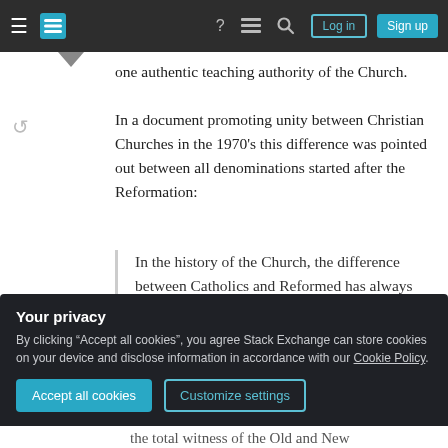Stack Exchange navigation bar with Log in and Sign up buttons
one authentic teaching authority of the Church.
In a document promoting unity between Christian Churches in the 1970's this difference was pointed out between all denominations started after the Reformation:
In the history of the Church, the difference between Catholics and Reformed has always focussed on the alternative: “Scripture and Tradition” and “Scripture only”. Catholics stressed the need for and the authority of the
Your privacy
By clicking “Accept all cookies”, you agree Stack Exchange can store cookies on your device and disclose information in accordance with our Cookie Policy.
Accept all cookies
Customize settings
the total witness of the Old and New